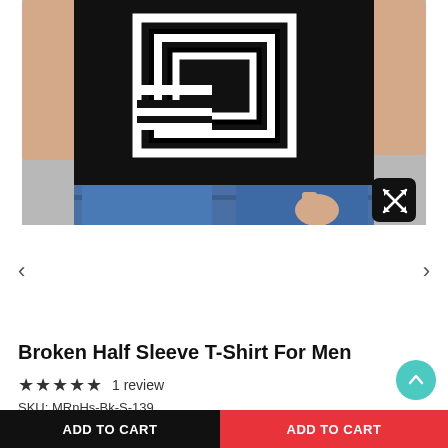[Figure (photo): A man wearing a black half-sleeve t-shirt with a geometric white square/rectangle print design, paired with blue jeans. The photo shows from shoulder to hip level. There is an expand icon button in the bottom right corner of the image.]
< (left navigation arrow)
> (right navigation arrow)
Broken Half Sleeve T-Shirt For Men
★★★★★ 1 review
SKU: MRnHs-Bk-S-139
ADD TO CART (black button, partial)
ADD TO CART (red button, partial)